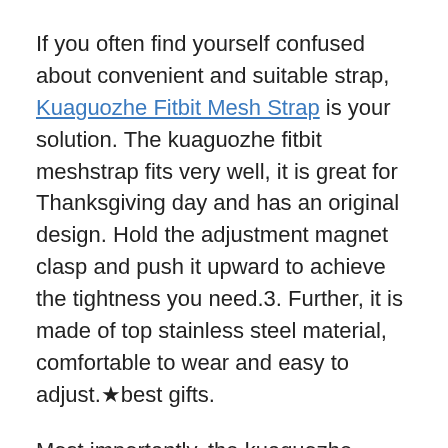If you often find yourself confused about convenient and suitable strap, Kuaguozhe Fitbit Mesh Strap is your solution. The kuaguozhe fitbit meshstrap fits very well, it is great for Thanksgiving day and has an original design. Hold the adjustment magnet clasp and push it upward to achieve the tightness you need.3. Further, it is made of top stainless steel material, comfortable to wear and easy to adjust.★best gifts.
Most importantly, the kuaguozhe fitbitmesh strap looks modern and has a stylish design.
Almost all customers quickly discovered that the straps were fine but it it difficult to get the right fit even by adding or removing links. Moreover,